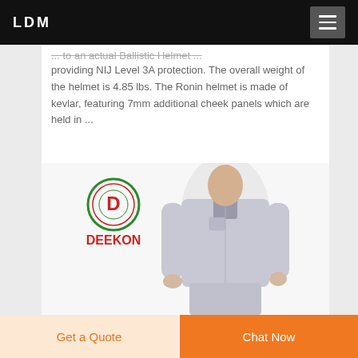LDM
... to an actual Ballistic Helmet providing NIJ Level 3A protection. The overall weight of the helmet is 4.85 lbs. The Ronin helmet is made of kevlar, featuring 7mm additional cheek panels which are held in ...
[Figure (photo): Man wearing light grey work uniform with Deekon brand logo in top left corner. The Deekon logo shows a circular emblem with the letter D and the text DEEKON in red below it.]
Get a Quote
Chat Now